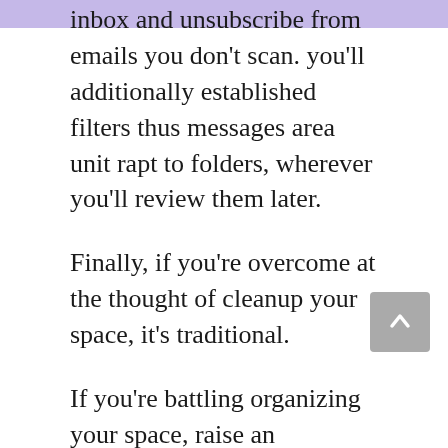don't use often. filter recent messages in your inbox and unsubscribe from emails you don't scan. you'll additionally established filters thus messages area unit rapt to folders, wherever you'll review them later.
Finally, if you're overcome at the thought of cleanup your space, it's traditional.
If you're battling organizing your space, raise an acquaintance or honey to assist. placed on some music and work along. Before you recognize it, your house can look higher than ever.
Using color, texture and additional will facilitate improve your mood.
Our garments play an enormous half in however